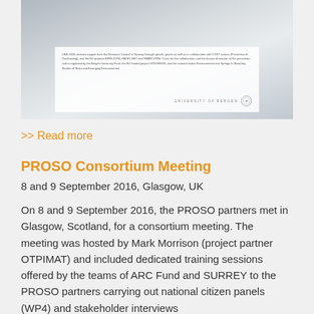[Figure (photo): Photograph of a document/poster on a dark surface, with 'University of Bergen' text and seal visible at the bottom of the document.]
>> Read more
PROSO Consortium Meeting
8 and 9 September 2016, Glasgow, UK
On 8 and 9 September 2016, the PROSO partners met in Glasgow, Scotland, for a consortium meeting. The meeting was hosted by Mark Morrison (project partner OTPIMAT) and included dedicated training sessions offered by the teams of ARC Fund and SURREY to the PROSO partners carrying out national citizen panels (WP4) and stakeholder interviews